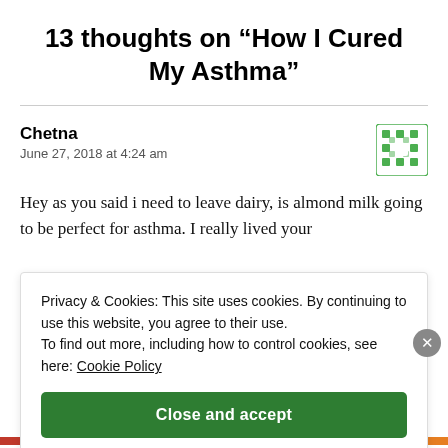13 thoughts on “How I Cured My Asthma”
Chetna
June 27, 2018 at 4:24 am
Hey as you said i need to leave dairy, is almond milk going to be perfect for asthma. I really lived your
Privacy & Cookies: This site uses cookies. By continuing to use this website, you agree to their use.
To find out more, including how to control cookies, see here: Cookie Policy
Close and accept